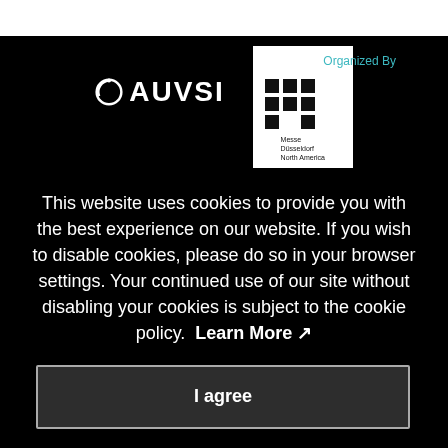[Figure (logo): AUVSI logo (white circle with arc and text AUVSI) and Messe Düsseldorf North America logo (dark grid pattern on white background), with 'Organized By' label in teal above the Messe logo.]
This website uses cookies to provide you with the best experience on our website. If you wish to disable cookies, please do so in your browser settings. Your continued use of our site without disabling your cookies is subject to the cookie policy.  Learn More ↗
I agree